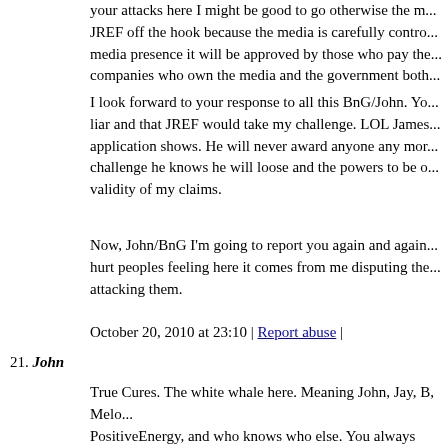your attacks here I might be good to go otherwise the m... JREF off the hook because the media is carefully contro... media presence it will be approved by those who pay the... companies who own the media and the government both...
I look forward to your response to all this BnG/John. Yo... liar and that JREF would take my challenge. LOL James... application shows. He will never award anyone any mor... challenge he knows he will loose and the powers to be o... validity of my claims.
Now, John/BnG I'm going to report you again and again... hurt peoples feeling here it comes from me disputing the... attacking them.
October 20, 2010 at 23:10 | Report abuse |
21. John
True Cures. The white whale here. Meaning John, Jay, B, Melo... PositiveEnergy, and who knows who else. You always seem to... everything, just that your out never makes any sense. Hey Jay.... same. Only, someone forgot to tell me that I live in the UK. I d... been living my life in some kind of Vulcan Timewarp.
I guess it is time to set straight some of your lies again Flowers... space on the board for this. This is a herpes support blog, and y...